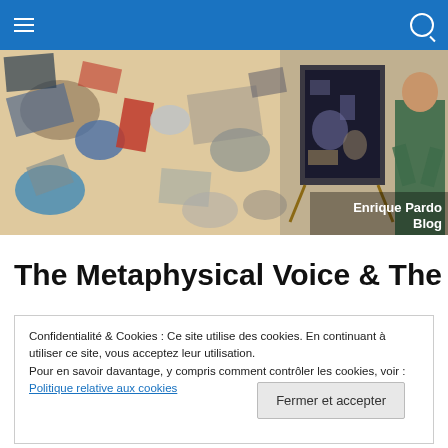Navigation bar with hamburger menu and search icon
[Figure (photo): Wide banner photo of colorful abstract artworks and paintings in a studio, with an artist visible on the right side. Text overlay: 'Enrique Pardo Blog']
The Metaphysical Voice & The
Confidentialité & Cookies : Ce site utilise des cookies. En continuant à utiliser ce site, vous acceptez leur utilisation.
Pour en savoir davantage, y compris comment contrôler les cookies, voir :
Politique relative aux cookies
Fermer et accepter